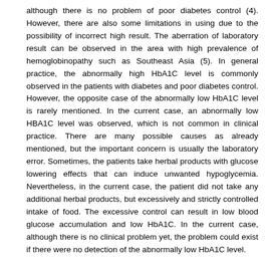although there is no problem of poor diabetes control (4). However, there are also some limitations in using due to the possibility of incorrect high result. The aberration of laboratory result can be observed in the area with high prevalence of hemoglobinopathy such as Southeast Asia (5). In general practice, the abnormally high HbA1C level is commonly observed in the patients with diabetes and poor diabetes control. However, the opposite case of the abnormally low HbA1C level is rarely mentioned. In the current case, an abnormally low HBA1C level was observed, which is not common in clinical practice. There are many possible causes as already mentioned, but the important concern is usually the laboratory error. Sometimes, the patients take herbal products with glucose lowering effects that can induce unwanted hypoglycemia. Nevertheless, in the current case, the patient did not take any additional herbal products, but excessively and strictly controlled intake of food. The excessive control can result in low blood glucose accumulation and low HbA1C. In the current case, although there is no clinical problem yet, the problem could exist if there were no detection of the abnormally low HbA1C level.
Keywords
hemoglobin A1C   low   Diabetes